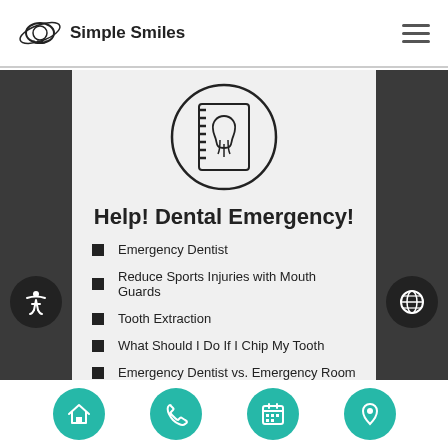Simple Smiles
[Figure (illustration): Circle icon containing a dental record book with a tooth illustration inside]
Help! Dental Emergency!
Emergency Dentist
Reduce Sports Injuries with Mouth Guards
Tooth Extraction
What Should I Do If I Chip My Tooth
Emergency Dentist vs. Emergency Room
Home | Phone | Calendar | Location